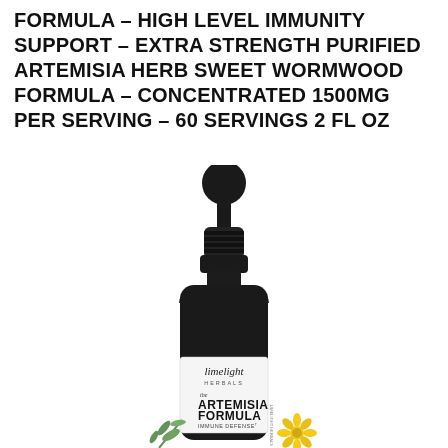FORMULA – HIGH LEVEL IMMUNITY SUPPORT – EXTRA STRENGTH PURIFIED ARTEMISIA HERB SWEET WORMWOOD FORMULA – CONCENTRATED 1500MG PER SERVING – 60 SERVINGS 2 FL OZ
[Figure (photo): A dark glass dropper bottle with white label reading 'limelight HERBALS the ARTEMISIA FORMULA IMMUNE DEFENSE†', with green herb leaves and yellow flowers visible at the base.]